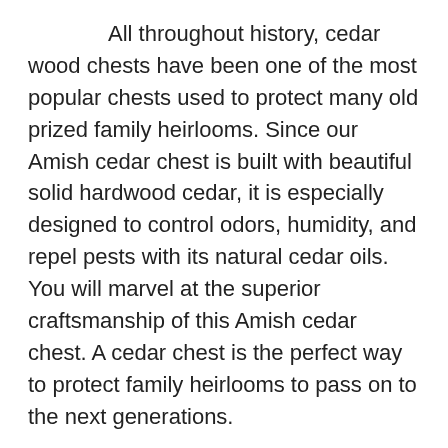All throughout history, cedar wood chests have been one of the most popular chests used to protect many old prized family heirlooms. Since our Amish cedar chest is built with beautiful solid hardwood cedar, it is especially designed to control odors, humidity, and repel pests with its natural cedar oils. You will marvel at the superior craftsmanship of this Amish cedar chest. A cedar chest is the perfect way to protect family heirlooms to pass on to the next generations.
Fill this vintage cedar chest with all of your family's most prized possessions. Family heirlooms like your grandmother's wedding